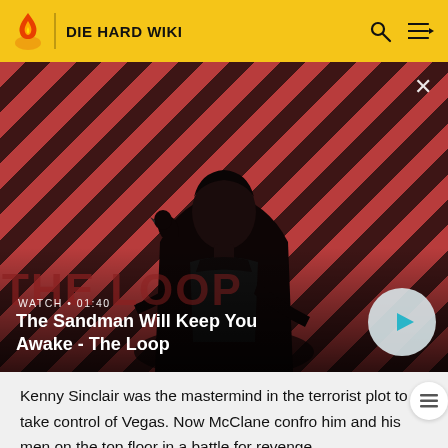DIE HARD WIKI
[Figure (screenshot): Video thumbnail showing a dark-clothed character with a bird on shoulder against red and dark diagonal striped background. Text overlay: WATCH • 01:40. Title: The Sandman Will Keep You Awake - The Loop. Play button visible on right side.]
Kenny Sinclair was the mastermind in the terrorist plot to take control of Vegas. Now McClane confro him and his men on the top floor in a battle for revenge.